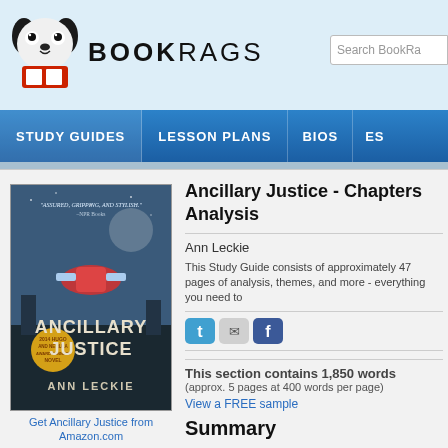[Figure (logo): BookRags website logo with dog mascot icon and BOOKRAGS text]
Search BookRa...
STUDY GUIDES | LESSON PLANS | BIOS | ES...
[Figure (photo): Book cover of Ancillary Justice by Ann Leckie, 2014 Hugo and Nebula Award winning novel]
Get Ancillary Justice from Amazon.com
Ancillary Justice - Chapters Analysis
Ann Leckie
This Study Guide consists of approximately 47 pages of analysis, themes, and more - everything you need to
[Figure (infographic): Social sharing icons: Twitter, Email, Facebook]
This section contains 1,850 words (approx. 5 pages at 400 words per page)
View a FREE sample
Summary